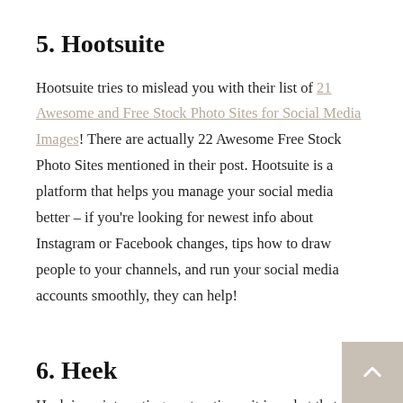5. Hootsuite
Hootsuite tries to mislead you with their list of 21 Awesome and Free Stock Photo Sites for Social Media Images! There are actually 22 Awesome Free Stock Photo Sites mentioned in their post. Hootsuite is a platform that helps you manage your social media better – if you're looking for newest info about Instagram or Facebook changes, tips how to draw people to your channels, and run your social media accounts smoothly, they can help!
6. Heek
Heek is an interesting contraption – it is a chat that…